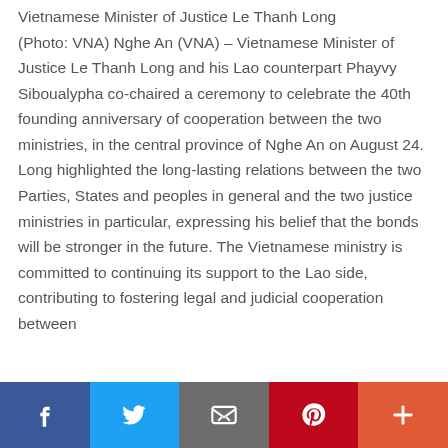Vietnamese Minister of Justice Le Thanh Long (Photo: VNA) Nghe An (VNA) – Vietnamese Minister of Justice Le Thanh Long and his Lao counterpart Phayvy Siboualypha co-chaired a ceremony to celebrate the 40th founding anniversary of cooperation between the two ministries, in the central province of Nghe An on August 24. Long highlighted the long-lasting relations between the two Parties, States and peoples in general and the two justice ministries in particular, expressing his belief that the bonds will be stronger in the future. The Vietnamese ministry is committed to continuing its support to the Lao side, contributing to fostering legal and judicial cooperation between
[Figure (infographic): Social media sharing bar with Facebook, Twitter, Email, Pinterest, and More buttons]